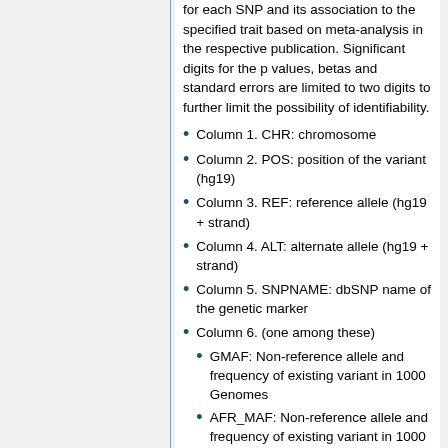for each SNP and its association to the specified trait based on meta-analysis in the respective publication. Significant digits for the p values, betas and standard errors are limited to two digits to further limit the possibility of identifiability.
Column 1. CHR: chromosome
Column 2. POS: position of the variant (hg19)
Column 3. REF: reference allele (hg19 + strand)
Column 4. ALT: alternate allele (hg19 + strand)
Column 5. SNPNAME: dbSNP name of the genetic marker
Column 6. (one among these)
GMAF: Non-reference allele and frequency of existing variant in 1000 Genomes
AFR_MAF: Non-reference allele and frequency of existing variant in 1000 Genomes combined African population